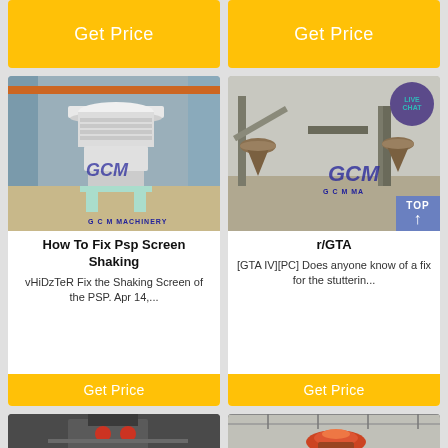[Figure (other): Yellow Get Price button top left]
[Figure (other): Yellow Get Price button top right]
[Figure (photo): GCM cone crusher machine in industrial warehouse, left card]
How To Fix Psp Screen Shaking
vHiDzTeR Fix the Shaking Screen of the PSP. Apr 14,...
[Figure (other): Yellow Get Price button, left card bottom]
[Figure (photo): GCM industrial conveyor/crusher equipment outdoor, right card with LIVE CHAT badge and TOP button]
r/GTA
[GTA IV][PC] Does anyone know of a fix for the stutterin...
[Figure (other): Yellow Get Price button, right card bottom]
[Figure (photo): Industrial crusher machine, bottom left partial]
[Figure (photo): Industrial cone crusher inside warehouse, bottom right partial]